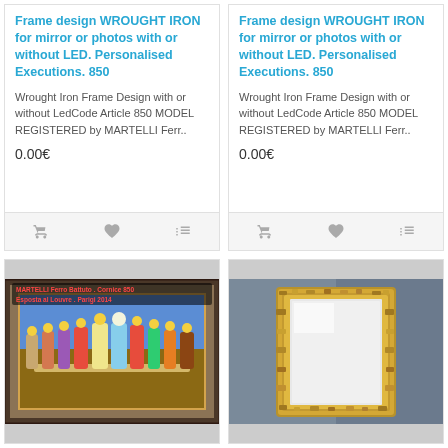Frame design WROUGHT IRON for mirror or photos with or without LED. Personalised Executions. 850
Wrought Iron Frame Design with or without LedCode Article 850 MODEL REGISTERED by MARTELLI Ferr..
0.00€
Frame design WROUGHT IRON for mirror or photos with or without LED. Personalised Executions. 850
Wrought Iron Frame Design with or without LedCode Article 850 MODEL REGISTERED by MARTELLI Ferr..
0.00€
[Figure (photo): Photo of an ornate wrought iron frame displaying a painting of the Last Supper. Red text overlay reads MARTELLI Ferro Battuto . Cornice 850 Esposta al Louvre . Parigi 2014]
[Figure (photo): Photo of a gold textured frame with a mirror insert, displayed against a grey/blue background]